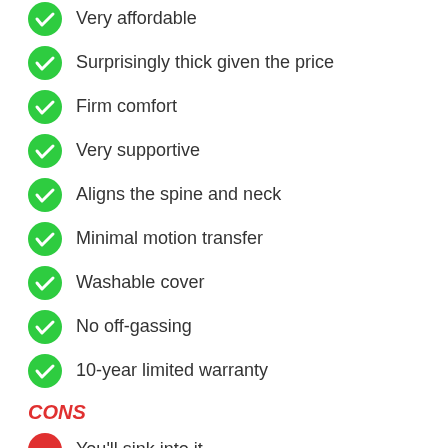Very affordable
Surprisingly thick given the price
Firm comfort
Very supportive
Aligns the spine and neck
Minimal motion transfer
Washable cover
No off-gassing
10-year limited warranty
CONS
You'll sink into it
Possibility of hot spots